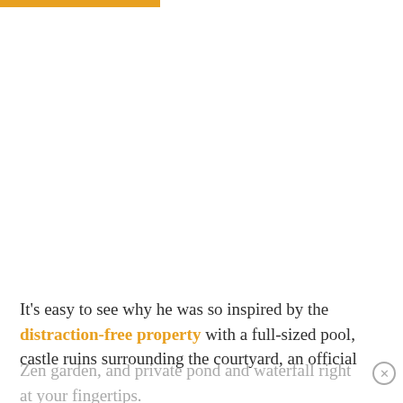[Figure (other): Gold/orange horizontal bar at top left of page]
It’s easy to see why he was so inspired by the distraction-free property with a full-sized pool, castle ruins surrounding the courtyard, an official Zen garden, and private pond and waterfall right at your fingertips.